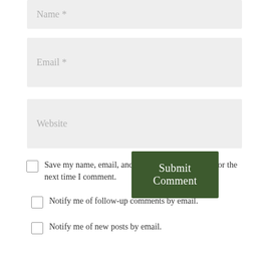Name *
Email *
Website
Save my name, email, and website in this browser for the next time I comment.
Notify me of follow-up comments by email.
Notify me of new posts by email.
Submit Comment